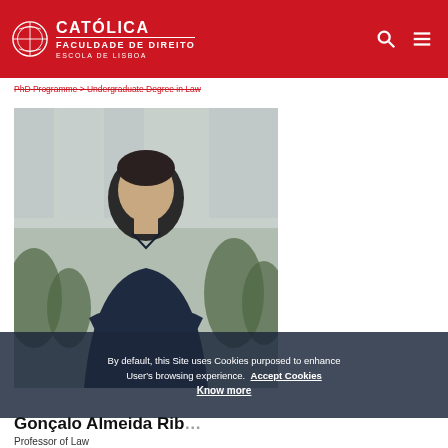CATOLICA FACULDADE DE DIREITO ESCOLA DE LISBOA
PhD Programme > Undergraduate Degree in Law
[Figure (photo): Portrait photo of Gonçalo Almeida Ribeiro, a young man with dark hair wearing a dark navy shirt, arms crossed, with green plants and glass building in background]
By default, this Site uses Cookies purposed to enhance User's browsing experience.  Accept Cookies  Know more
Gonçalo Almeida Rib…
Professor of Law